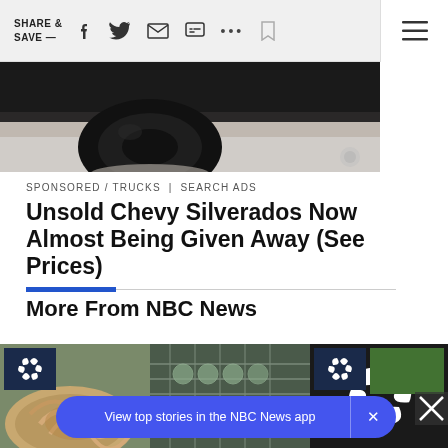SHARE & SAVE —
[Figure (photo): Bottom portion of a dark/black truck tire and wheel on a light concrete surface]
SPONSORED / TRUCKS  |  SEARCH ADS
Unsold Chevy Silverados Now Almost Being Given Away (See Prices)
More From NBC News
[Figure (photo): Two image thumbnails side by side with NBC News peacock logo badges. Left shows decorative swirl-patterned dishes and a dish rack with glasses. Right shows NBC peacock logo on dark background.]
View top stories in the NBC News app